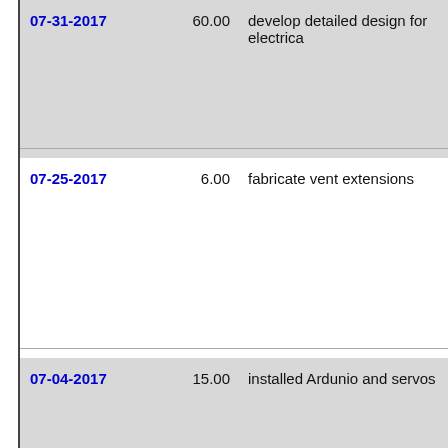| Date | Hours | Description |
| --- | --- | --- |
| 07-31-2017 | 60.00 | develop detailed design for electrica... |
| 07-25-2017 | 6.00 | fabricate vent extensions |
| 07-04-2017 | 15.00 | installed Ardunio and servos |